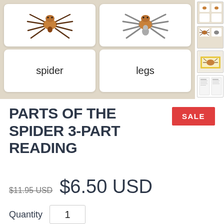[Figure (photo): Montessori 3-part reading cards for Parts of the Spider. Two cards visible: one showing a brown spider image, one showing a spider with highlighted legs. Below each image card is a label card reading 'spider' and 'legs' respectively. Background is a textured beige/tan color.]
[Figure (photo): Thumbnail images on the right side showing various views of the Parts of the Spider 3-part reading cards product.]
PARTS OF THE SPIDER 3-PART READING
SALE
$11.95 USD  $6.50 USD
Quantity 1